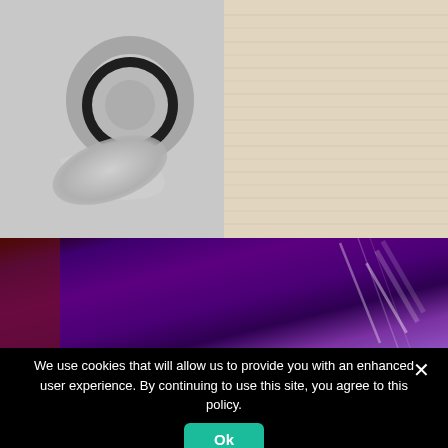[Figure (photo): Split photo: left side shows a close-up of a glass or transparent rounded object on a grey/white fabric background; right side shows a light wood grain surface texture.]
[Figure (photo): A dark purple and black background with streaks of light, appearing to be a website background image.]
We use cookies that will allow us to provide you with an enhanced user experience. By continuing to use this site, you agree to this policy.
Ok